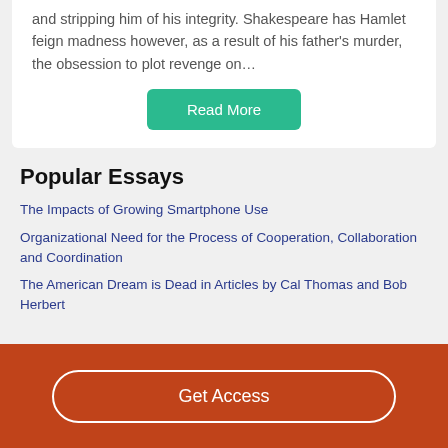and stripping him of his integrity. Shakespeare has Hamlet feign madness however, as a result of his father's murder, the obsession to plot revenge on…
Read More
Popular Essays
The Impacts of Growing Smartphone Use
Organizational Need for the Process of Cooperation, Collaboration and Coordination
The American Dream is Dead in Articles by Cal Thomas and Bob Herbert
Get Access